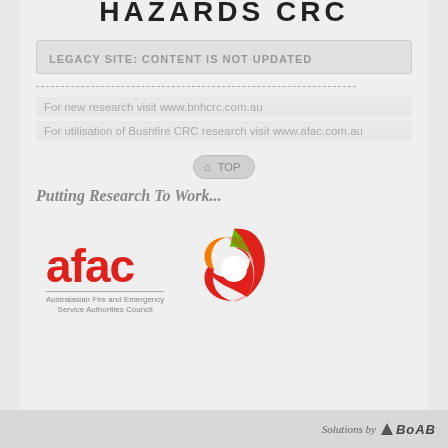[Figure (logo): Partial logo text at top, dark bold uppercase letters clipped at top]
LEGACY SITE: CONTENT IS NOT UPDATED
For new research visit www.bnhcrc.com.au
For utilisation of Bushfire CRC research visit www.afac.com.au
⌂ TOP
Putting Research To Work...
[Figure (logo): AFAC logo - red text 'afac' with stylized circular emblem in red, green and orange, with text 'Australasian Fire and Emergency Service Authorities Council' below]
Solutions by BoAB